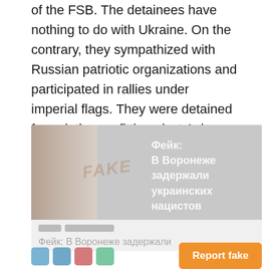of the FSB. The detainees have nothing to do with Ukraine. On the contrary, they sympathized with Russian patriotic organizations and participated in rallies under imperial flags. They were detained for painting grafitti against Asian migrants on walls and fences. On the basis of this investigation Facebook labeled hundreds of messages, reports and articles in Russian media as "untrue."
[Figure (screenshot): Screenshot of a Russian media article with 'FAKE' watermark overlay. The headline in Russian reads 'Фейк: В Воронеже задержали украинских нацистов' (Fake: Ukrainian Nazis detained in Voronezh). Below is a lighter version of the same headline on a grey background with category tags.]
Report fake